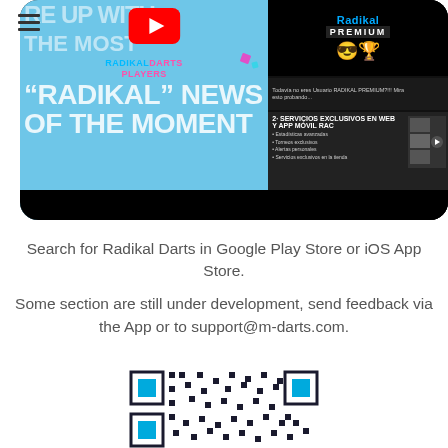[Figure (screenshot): Screenshot of Radikal Darts app showing YouTube video thumbnail with text 'Keep up with the most Radikal news of the moment' and Radikal Premium promotional panel on the right]
Search for Radikal Darts in Google Play Store or iOS App Store.
Some section are still under development, send feedback via the App or to support@m-darts.com.
[Figure (other): QR code for Radikal Darts app download]